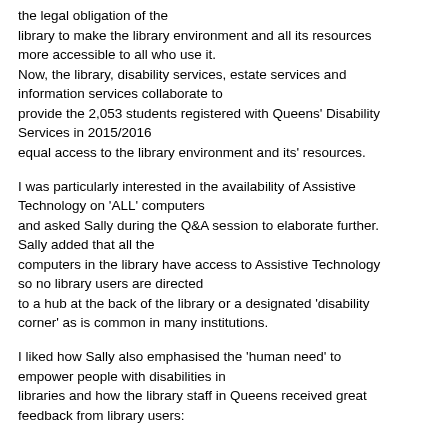the legal obligation of the library to make the library environment and all its resources more accessible to all who use it. Now, the library, disability services, estate services and information services collaborate to provide the 2,053 students registered with Queens' Disability Services in 2015/2016 equal access to the library environment and its' resources.
I was particularly interested in the availability of Assistive Technology on 'ALL' computers and asked Sally during the Q&A session to elaborate further. Sally added that all the computers in the library have access to Assistive Technology so no library users are directed to a hub at the back of the library or a designated 'disability corner' as is common in many institutions.
I liked how Sally also emphasised the 'human need' to empower people with disabilities in libraries and how the library staff in Queens received great feedback from library users: